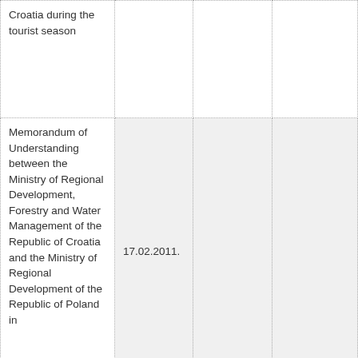| Croatia during the tourist season |  |  |  |
| Memorandum of Understanding between the Ministry of Regional Development, Forestry and Water Management of the Republic of Croatia and the Ministry of Regional Development of the Republic of Poland in | 17.02.2011. |  |  |